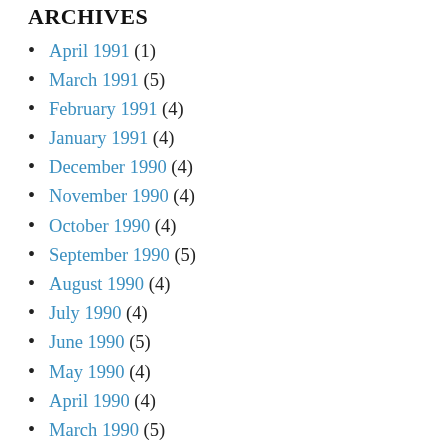ARCHIVES
April 1991 (1)
March 1991 (5)
February 1991 (4)
January 1991 (4)
December 1990 (4)
November 1990 (4)
October 1990 (4)
September 1990 (5)
August 1990 (4)
July 1990 (4)
June 1990 (5)
May 1990 (4)
April 1990 (4)
March 1990 (5)
February 1990 (4)